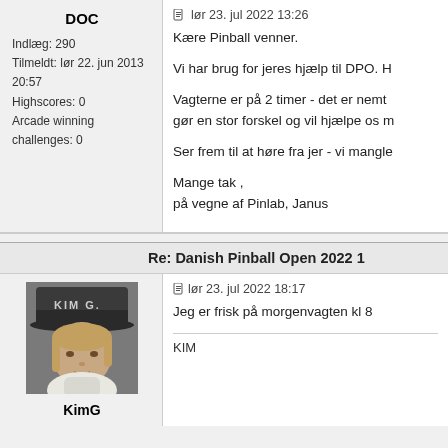DOC
Indlæg: 290
Tilmeldt: lør 22. jun 2013 20:57
Highscores: 0
Arcade winning challenges: 0
lør 23. jul 2022 13:26
Kære Pinball venner.

Vi har brug for jeres hjælp til DPO. H

Vagterne er på 2 timer - det er nemt gør en stor forskel og vil hjælpe os m

Ser frem til at høre fra jer - vi mangle

Mange tak ,
på vegne af Pinlab, Janus
Re: Danish Pinball Open 2022 1
[Figure (photo): Profile photo of KimG wearing a dark cap with KIM G text]
KimG
lør 23. jul 2022 18:17
Jeg er frisk på morgenvagten kl 8
KIM